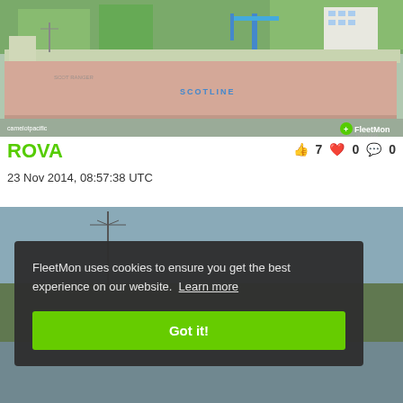[Figure (photo): Photo of cargo ship ROVA (Scotline) at dock, showing green upper structure and red/pink hull. Watermarked with 'camelotpacific' and FleetMon logo.]
ROVA
23 Nov 2014, 08:57:38 UTC
[Figure (photo): Partial photo of another ship, partially obscured by cookie consent overlay]
FleetMon uses cookies to ensure you get the best experience on our website. Learn more
Got it!